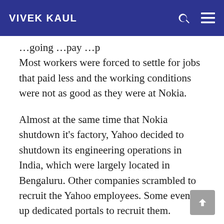VIVEK KAUL
…going …pay …p
Most workers were forced to settle for jobs that paid less and the working conditions were not as good as they were at Nokia.
Almost at the same time that Nokia shutdown it's factory, Yahoo decided to shutdown its engineering operations in India, which were largely located in Bengaluru. Other companies scrambled to recruit the Yahoo employees. Some even set up dedicated portals to recruit them.
While, the Nokia employees in Sriperumbudur had a tough time finding comparable jobs, the